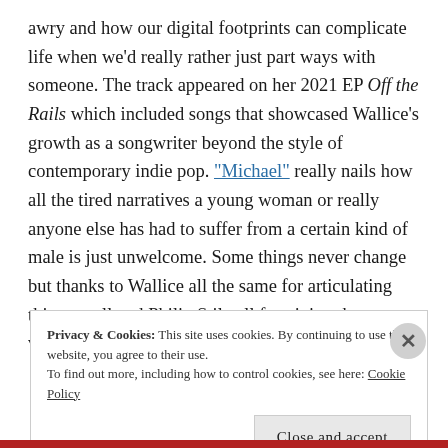awry and how our digital footprints can complicate life when we'd really rather just part ways with someone. The track appeared on her 2021 EP Off the Rails which included songs that showcased Wallice's growth as a songwriter beyond the style of contemporary indie pop. "Michael" really nails how all the tired narratives a young woman or really anyone else has had to suffer from a certain kind of male is just unwelcome. Some things never change but thanks to Wallice all the same for articulating this so well and Philip Stilwell for giving the song visual form.
Privacy & Cookies: This site uses cookies. By continuing to use this website, you agree to their use. To find out more, including how to control cookies, see here: Cookie Policy
Close and accept